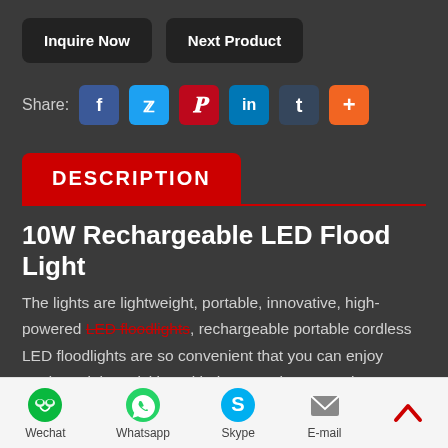Inquire Now | Next Product
Share: Facebook Twitter Pinterest LinkedIn Tumblr More
DESCRIPTION
10W Rechargeable LED Flood Light
The lights are lightweight, portable, innovative, high-powered LED floodlights, rechargeable portable cordless LED floodlights are so convenient that you can enjoy outdoor night activities with them, such as camping, fishing, outdoor parties and
Wechat | Whatsapp | Skype | E-mail